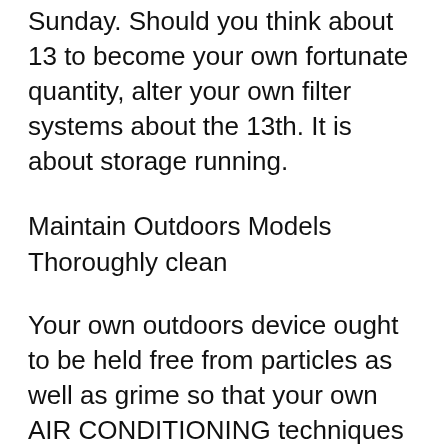Sunday. Should you think about 13 to become your own fortunate quantity, alter your own filter systems about the 13th. It is about storage running.
Maintain Outdoors Models Thoroughly clean
Your own outdoors device ought to be held free from particles as well as grime so that your own AIR CONDITIONING techniques working optimally. Simply leaves, lawn, as well as dirt often build up upon outdoors hvac models. These types of contaminants may quickly pull in the functions unless of course they are cleaned out from the actual equipment. Make certain the actual concrete mat in which the device is actually position is actually thoroughly clean as well as dried out